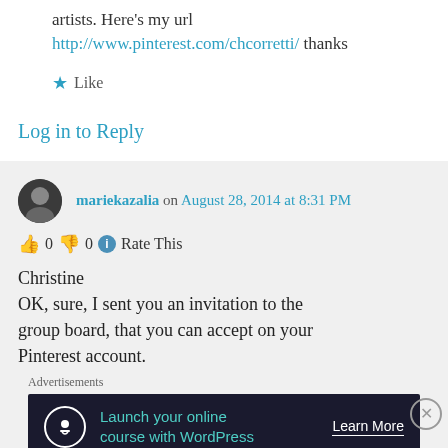artists. Here's my url http://www.pinterest.com/chcorretti/ thanks
★ Like
Log in to Reply
mariekazalia on August 28, 2014 at 8:31 PM
👍 0 👎 0 ℹ Rate This
Christine
OK, sure, I sent you an invitation to the group board, that you can accept on your Pinterest account.
Advertisements
[Figure (screenshot): Advertisement banner: Launch your online course with WordPress. Learn More button.]